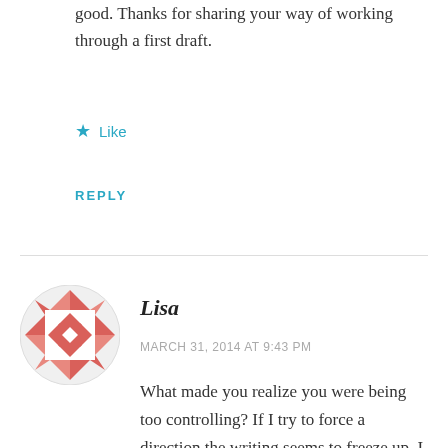good. Thanks for sharing your way of working through a first draft.
Like
REPLY
[Figure (illustration): Circular avatar with a red/salmon geometric quilt-pattern design on white background]
Lisa
MARCH 31, 2014 AT 9:43 PM
What made you realize you were being too controlling? If I try to force a direction the writing seems to freeze up. I can go back to where it flowed, and usually figure out the wrong direction I headed in. It does seem though, that when we try to control too